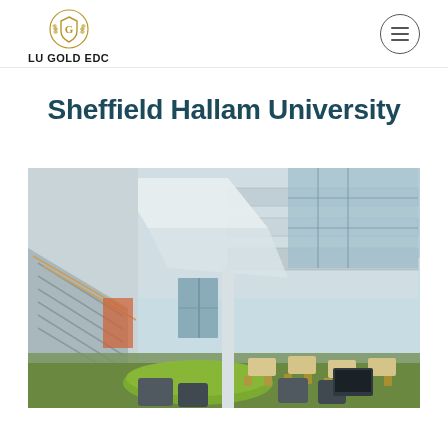LU GOLD EDC
Sheffield Hallam University
[Figure (photo): Interior atrium of Sheffield Hallam University building showing modern multi-level open space with glass ceiling, large staircase with metal railings, green curved seating areas, and cafe/dining tables and chairs on green carpet flooring.]